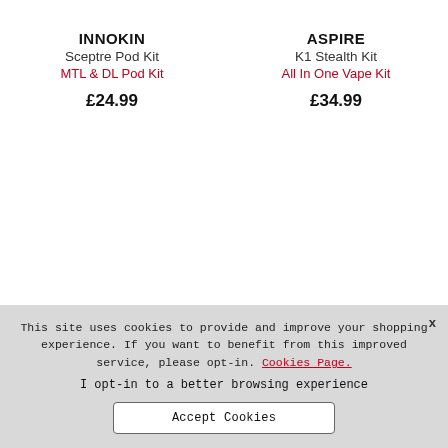INNOKIN
Sceptre Pod Kit
MTL & DL Pod Kit
£24.99
ASPIRE
K1 Stealth Kit
All In One Vape Kit
£34.99
This site uses cookies to provide and improve your shopping experience. If you want to benefit from this improved service, please opt-in. Cookies Page.
I opt-in to a better browsing experience
Accept Cookies